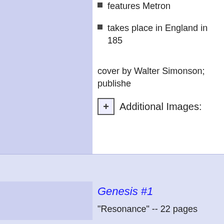features Metron
takes place in England in 185
cover by Walter Simonson; publishe
Additional Images:
Genesis #1
“Resonance” -- 22 pages
written by John Byrne; pencil
super-heroes’ powers go cra
first issue; cover by Alan Davis and M
Genesis #2
“Edge of Destruction” -- 22 pages